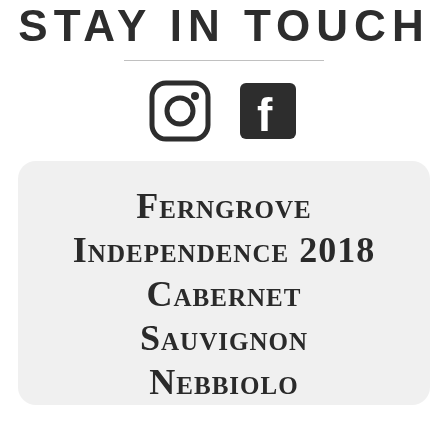Stay In Touch
[Figure (logo): Instagram and Facebook social media icons side by side]
Ferngrove Independence 2018 Cabernet Sauvignon Nebbiolo